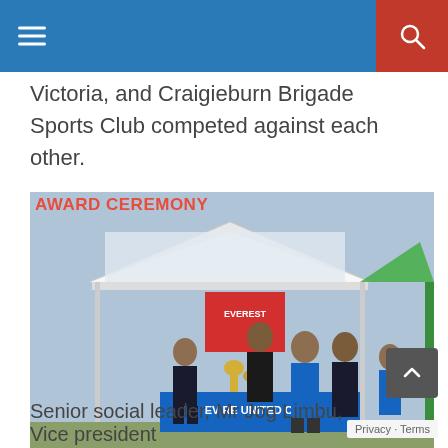Navigation bar with hamburger menu and search button
Victoria, and Craigieburn Brigade Sports Club competed against each other.
[Figure (photo): Award ceremony photo showing youth soccer players at an outdoor event under a white canopy tent with Everest United Club branding. Score overlay shows YETI FC 1-2 CG BC. Text overlay reads AWARD CEREMONY in red.]
Senior social leader, Mr Jog Limbu, Vice president